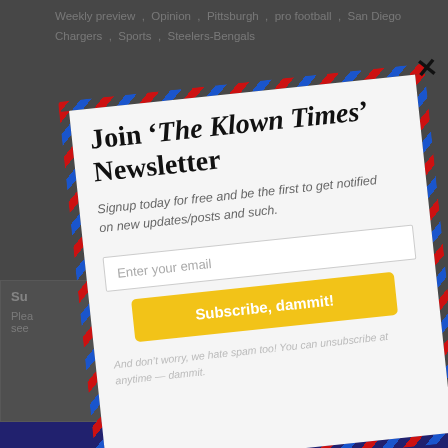Weekly preview , Opinion , Pittsburgh , pro football , San Diego Chargers , Sports , Steelers-Bengals
[Figure (screenshot): Newsletter signup modal overlay on a dark gray webpage background. Modal shows air-mail style border with red and blue diagonal stripes. Contains title 'Join The Klown Times' Newsletter', subtitle about signing up for free, email input field, yellow Subscribe button, and footnote about unsubscribing.]
Join 'The Klown Times' Newsletter
Signup today for free and be the first to get notified on new updates/posts and such.
Enter your email
Subscribe, dammit!
And don't worry, we hate spam too! You can unsubscribe at anytime -- dammit.